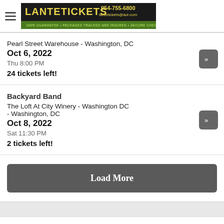[Figure (logo): LanteTickets advertisement banner with logo, phone number 954-755-6800, email lantetickets@aol.com, and tagline '100% GUARANTEE - PACKAGES TRACKED AND INSURED - SECURE CHECKOUT']
Pearl Street Warehouse - Washington, DC
Oct 6, 2022
Thu 8:00 PM
24 tickets left!
Backyard Band
The Loft At City Winery - Washington DC - Washington, DC
Oct 8, 2022
Sat 11:30 PM
2 tickets left!
Load More